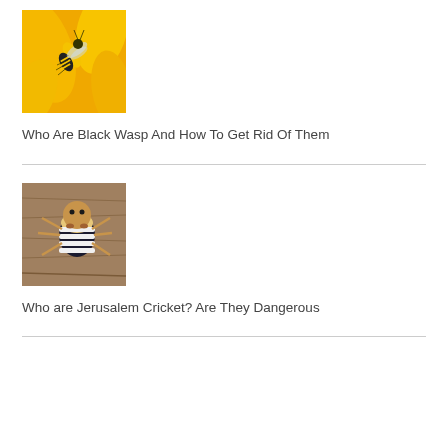[Figure (photo): Close-up photo of a black and yellow wasp on yellow flower petals]
Who Are Black Wasp And How To Get Rid Of Them
[Figure (photo): Close-up photo of a Jerusalem cricket insect on a wooden surface, showing striped abdomen and large head]
Who are Jerusalem Cricket? Are They Dangerous